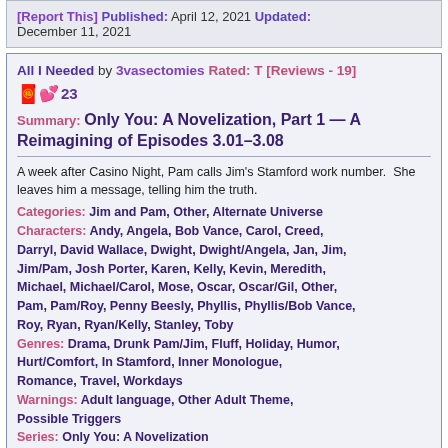[Report This] Published: April 12, 2021 Updated: December 11, 2021
All I Needed by 3vasectomies Rated: T [Reviews - 19] 23
Summary: Only You: A Novelization, Part 1 — A Reimagining of Episodes 3.01–3.08
A week after Casino Night, Pam calls Jim's Stamford work number.  She leaves him a message, telling him the truth.
Categories: Jim and Pam, Other, Alternate Universe Characters: Andy, Angela, Bob Vance, Carol, Creed, Darryl, David Wallace, Dwight, Dwight/Angela, Jan, Jim, Jim/Pam, Josh Porter, Karen, Kelly, Kevin, Meredith, Michael, Michael/Carol, Mose, Oscar, Oscar/Gil, Other, Pam, Pam/Roy, Penny Beesly, Phyllis, Phyllis/Bob Vance, Roy, Ryan, Ryan/Kelly, Stanley, Toby Genres: Drama, Drunk Pam/Jim, Fluff, Holiday, Humor, Hurt/Comfort, In Stamford, Inner Monologue, Romance, Travel, Workdays Warnings: Adult language, Other Adult Theme, Possible Triggers Series: Only You: A Novelization